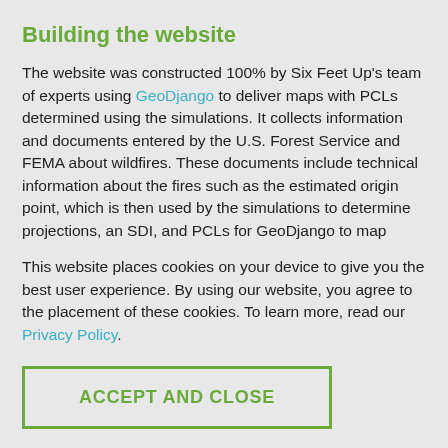Building the website
The website was constructed 100% by Six Feet Up's team of experts using GeoDjango to deliver maps with PCLs determined using the simulations. It collects information and documents entered by the U.S. Forest Service and FEMA about wildfires. These documents include technical information about the fires such as the estimated origin point, which is then used by the simulations to determine projections, an SDI, and PCLs for GeoDjango to map
This website places cookies on your device to give you the best user experience. By using our website, you agree to the placement of these cookies. To learn more, read our Privacy Policy.
ACCEPT AND CLOSE